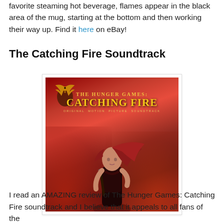favorite steaming hot beverage, flames appear in the black area of the mug, starting at the bottom and then working their way up. Find it here on eBay!
The Catching Fire Soundtrack
[Figure (photo): The Hunger Games: Catching Fire movie soundtrack album cover. Features a woman with long dark red hair holding arrows against a dramatic red smoky background. The mockingjay symbol appears in the upper left. Title text reads 'THE HUNGER GAMES: CATCHING FIRE ORIGINAL MOTION PICTURE SOUNDTRACK' in gold lettering.]
I read an AMAZING review of The Hunger Games: Catching Fire soundtrack and I believe that it appeals to all fans of the